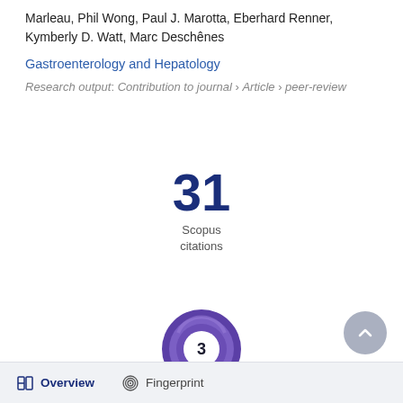Marleau, Phil Wong, Paul J. Marotta, Eberhard Renner, Kymberly D. Watt, Marc Deschênes
Gastroenterology and Hepatology
Research output: Contribution to journal › Article › peer-review
[Figure (infographic): Scopus citations count showing 31 citations]
[Figure (donut-chart): Altmetric donut badge showing score of 3]
Overview  Fingerprint